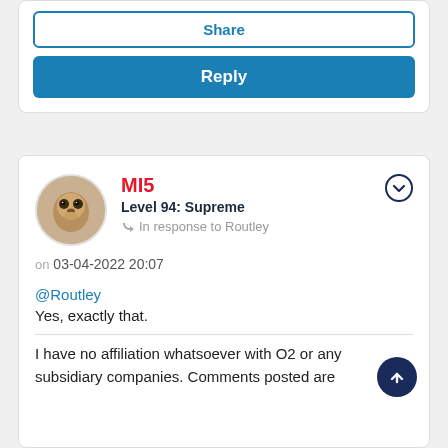Share
Reply
MI5
Level 94: Supreme
In response to Routley
on 03-04-2022 20:07
@Routley
Yes, exactly that.
I have no affiliation whatsoever with O2 or any subsidiary companies. Comments posted are